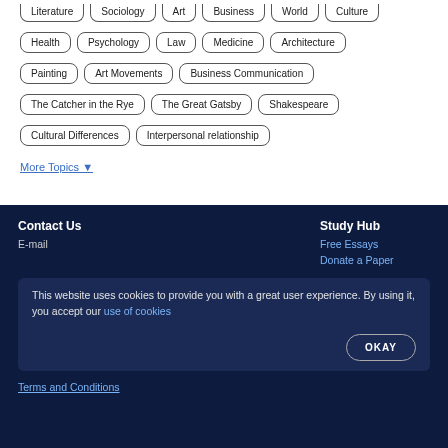Literature
Sociology
Art
Business
World
Culture
Health
Psychology
Law
Medicine
Architecture
Painting
Art Movements
Business Communication
The Catcher in the Rye
The Great Gatsby
Shakespeare
Cultural Differences
Interpersonal relationship
More Topics ▼
Contact Us
E-mail
Study Hub
Free Essays
Donate a Paper
This website uses cookies to provide you with a great user experience. By using it, you accept our use of cookies
OKAY
Terms and Conditions